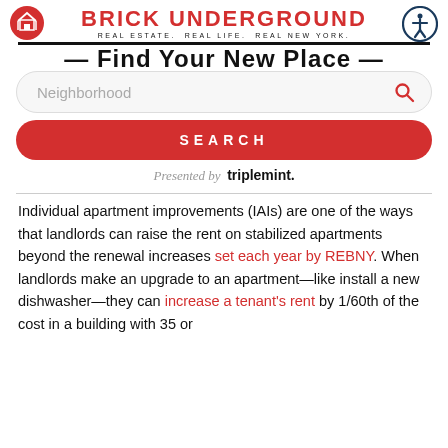BRICK UNDERGROUND — REAL ESTATE. REAL LIFE. REAL NEW YORK.
[Figure (screenshot): Search widget with 'Neighborhood' input field, red search icon, red SEARCH button, and 'Presented by triplemint.' text below]
Individual apartment improvements (IAIs) are one of the ways that landlords can raise the rent on stabilized apartments beyond the renewal increases set each year by REBNY. When landlords make an upgrade to an apartment—like install a new dishwasher—they can increase a tenant's rent by 1/60th of the cost in a building with 35 or